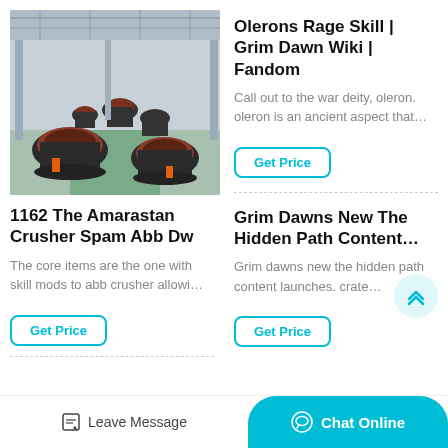[Figure (photo): Industrial factory floor with large cone crushers and mining equipment]
1162 The Amarastan Crusher Spam Abb Dw
The core items are the one with skill mods to abb crusher allowi…
Get Price
Olerons Rage Skill | Grim Dawn Wiki | Fandom
Call out to the war deity, oleron. oleron is an ancient aspect that…
Get Price
Grim Dawns New The Hidden Path Content…
Grim dawns new the hidden path content launches. crate…
Get Price
Leave Message
Chat Online